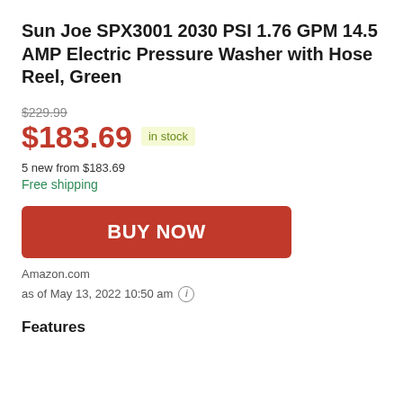Sun Joe SPX3001 2030 PSI 1.76 GPM 14.5 AMP Electric Pressure Washer with Hose Reel, Green
$229.99
$183.69 in stock
5 new from $183.69
Free shipping
BUY NOW
Amazon.com
as of May 13, 2022 10:50 am
Features